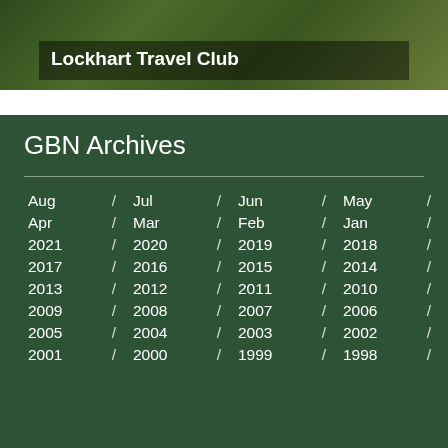[Figure (photo): Aerial or landscape photo of forested hills/terrain with overlaid text about Lockhart Travel Club]
Lockhart Travel Club
GBN Archives
Aug / Jul / Jun / May /
Apr / Mar / Feb / Jan /
2021 / 2020 / 2019 / 2018 /
2017 / 2016 / 2015 / 2014 /
2013 / 2012 / 2011 / 2010 /
2009 / 2008 / 2007 / 2006 /
2005 / 2004 / 2003 / 2002 /
2001 / 2000 / 1999 / 1998 /